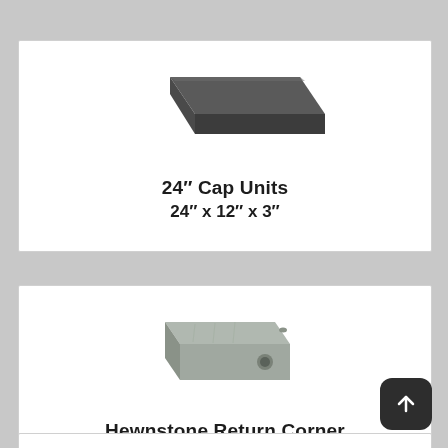[Figure (photo): Product photo of a flat rectangular dark grey concrete cap unit, viewed from an angle above]
24″ Cap Units
24″ x 12″ x 3″
[Figure (photo): Product photo of a light grey rectangular concrete block with a hole on the side, viewed from an angle — Hewnstone Return Corner]
Hewnstone Return Corner
15″ x 6″ x 8″